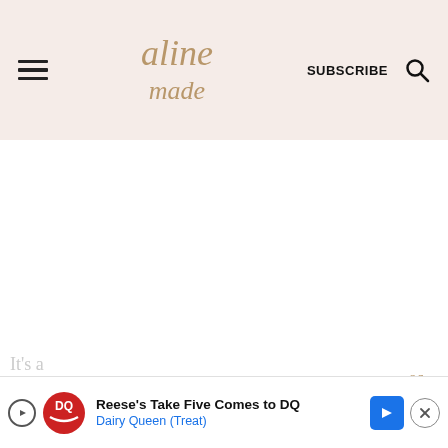aline made — SUBSCRIBE (search icon)
[Figure (screenshot): White content area — blank/loading section of a food blog page]
86
It's a
[Figure (infographic): Advertisement banner: Reese's Take Five Comes to DQ — Dairy Queen (Treat), with DQ logo, play button, blue arrow button, and close (X) button]